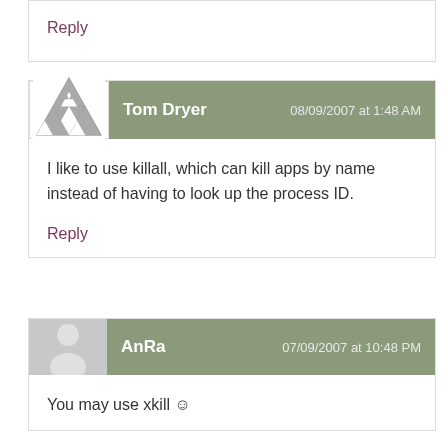Reply
Tom Dryer  08/09/2007 at 1:48 AM
I like to use killall, which can kill apps by name instead of having to look up the process ID.
Reply
AnRa  07/09/2007 at 10:48 PM
You may use xkill ☺